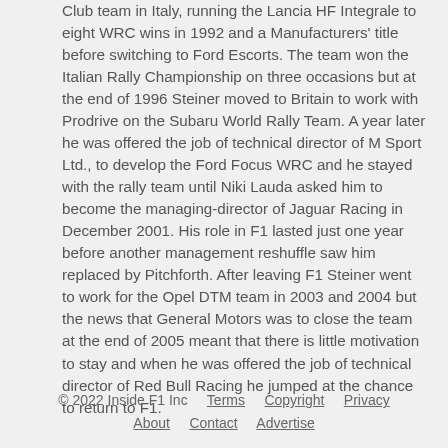Club team in Italy, running the Lancia HF Integrale to eight WRC wins in 1992 and a Manufacturers' title before switching to Ford Escorts. The team won the Italian Rally Championship on three occasions but at the end of 1996 Steiner moved to Britain to work with Prodrive on the Subaru World Rally Team. A year later he was offered the job of technical director of M Sport Ltd., to develop the Ford Focus WRC and he stayed with the rally team until Niki Lauda asked him to become the managing-director of Jaguar Racing in December 2001. His role in F1 lasted just one year before another management reshuffle saw him replaced by Pitchforth. After leaving F1 Steiner went to work for the Opel DTM team in 2003 and 2004 but the news that General Motors was to close the team at the end of 2005 meant that there is little motivation to stay and when he was offered the job of technical director of Red Bull Racing he jumped at the chance to return to F1.
© 2022 Inside F1 Inc    Terms    Copyright    Privacy    About    Contact    Advertise